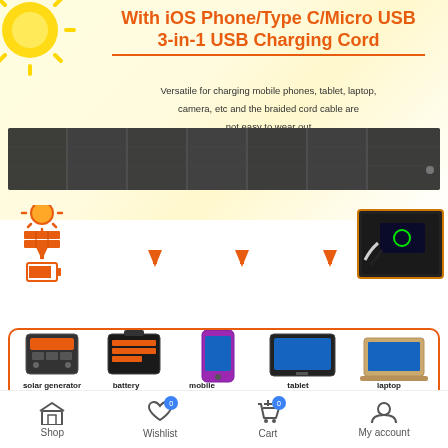With iOS Phone/Type C/Micro USB 3-in-1 USB Charging Cord
Versatile for charging mobile phones, tablet, laptop, camera, etc and the braided cord cable are not easy to wear out
[Figure (photo): Unfolded solar panel charger laid flat showing multiple dark panel sections]
[Figure (infographic): Charging flow diagram: sun icon → solar panel icon → battery/power bank → arrow down → solar generator, battery, mobile, tablet, laptop icons in orange rounded border box. Photo inset showing USB charging cable connected to tablet.]
solar generator
battery
mobile
tablet
laptop
Shop  Wishlist 0  Cart 0  My account